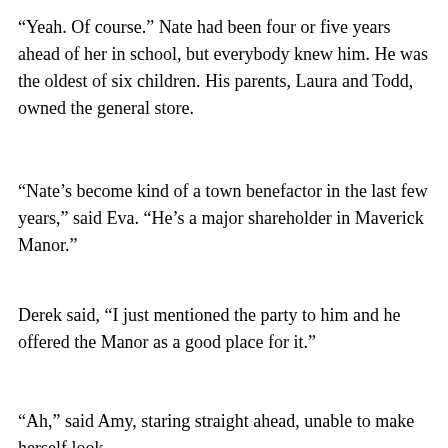“Yeah. Of course.” Nate had been four or five years ahead of her in school, but everybody knew him. He was the oldest of six children. His parents, Laura and Todd, owned the general store.
“Nate’s become kind of a town benefactor in the last few years,” said Eva. “He’s a major shareholder in Maverick Manor.”
Derek said, “I just mentioned the party to him and he offered the Manor as a good place for it.”
“Ah,” said Amy, staring straight ahead, unable to make herself look